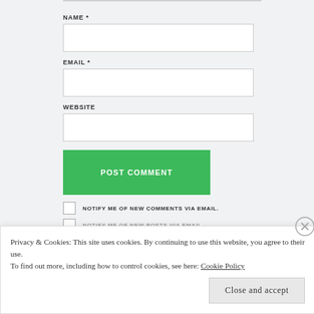NAME *
[Figure (screenshot): Empty text input field for NAME]
EMAIL *
[Figure (screenshot): Empty text input field for EMAIL]
WEBSITE
[Figure (screenshot): Empty text input field for WEBSITE]
POST COMMENT
NOTIFY ME OF NEW COMMENTS VIA EMAIL.
NOTIFY ME OF NEW POSTS VIA EMAIL.
Privacy & Cookies: This site uses cookies. By continuing to use this website, you agree to their use.
To find out more, including how to control cookies, see here: Cookie Policy
Close and accept